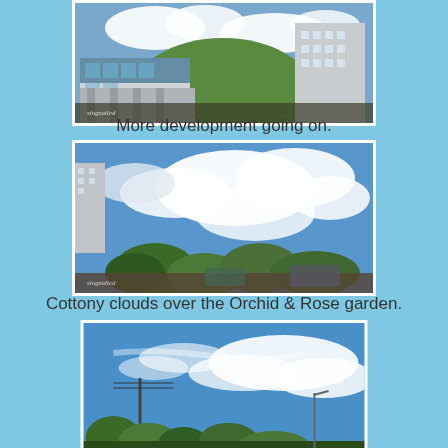[Figure (photo): Buildings and construction development with mountains and blue sky in the background. Watermark reads 'singsailed'.]
More development going on.
[Figure (photo): Cottony white clouds over a blue sky with trees and vehicles below, a tall building on the left. Watermark reads 'singsailed'.]
Cottony clouds over the Orchid & Rose garden.
[Figure (photo): Blue sky with wispy white clouds over green trees and a street scene with power lines.]